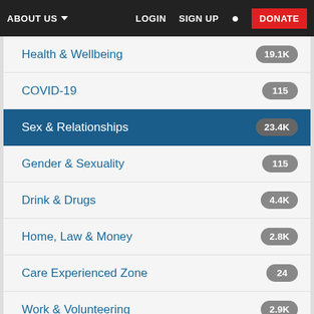ABOUT US  LOGIN  SIGN UP  DONATE
Health & Wellbeing  19.1K
COVID-19  115
Sex & Relationships  23.4K
Gender & Sexuality  115
Drink & Drugs  4.4K
Home, Law & Money  2.8K
Care Experienced Zone  24
Work & Volunteering  2.9K
Student Life & Education  3.5K
Group Chat Announcements  2.3K
Anything Goes  40.5K